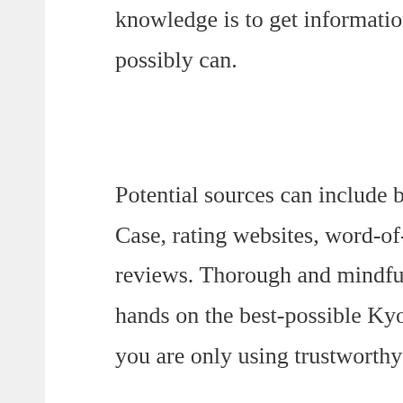knowledge is to get information from as many reputable online sources as you possibly can.
Potential sources can include buying guides for Kyocera Qualcomm 3g Cdma Case, rating websites, word-of-mouth testimonials, online forums, and product reviews. Thorough and mindful research is crucial to making sure you get your hands on the best-possible Kyocera Qualcomm 3g Cdma Case. Make sure that you are only using trustworthy and credible websites and sources.
Think Toolkit provides an Kyocera Qualcomm 3g Cdma Case buying guide, and the information is totally objective and authentic. We employ both AI and big data